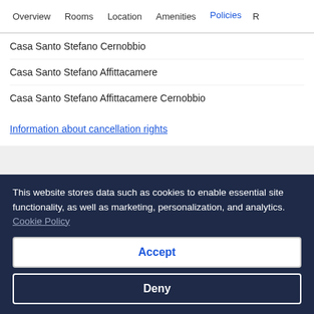Overview | Rooms | Location | Amenities | Policies | R
Casa Santo Stefano Cernobbio
Casa Santo Stefano Affittacamere
Casa Santo Stefano Affittacamere Cernobbio
Information about cancellation rights
Exceptional
This website stores data such as cookies to enable essential site functionality, as well as marketing, personalization, and analytics. Cookie Policy
Accept
Deny